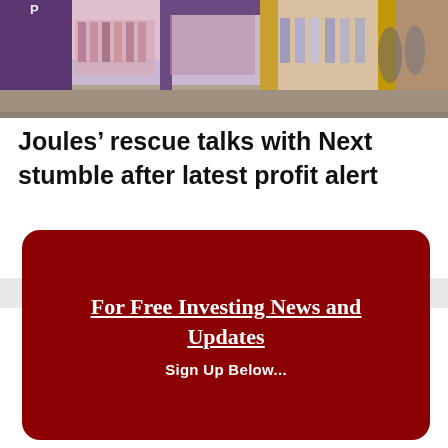[Figure (photo): Photo of a retail store front in a shopping mall, showing clothing displays and storefronts with purple and yellow columns.]
Joules’ rescue talks with Next stumble after latest profit alert
For Free Investing News and Updates
Sign Up Below...